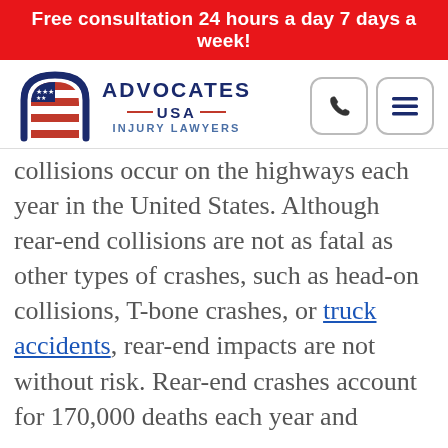Free consultation 24 hours a day 7 days a week!
[Figure (logo): Advocates USA Injury Lawyers logo with American flag emblem and navigation icons (phone and menu)]
collisions occur on the highways each year in the United States. Although rear-end collisions are not as fatal as other types of crashes, such as head-on collisions, T-bone crashes, or truck accidents, rear-end impacts are not without risk. Rear-end crashes account for 170,000 deaths each year and